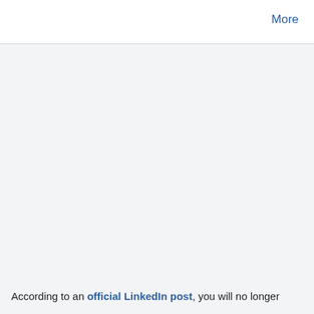More
According to an official LinkedIn post, you will no longer